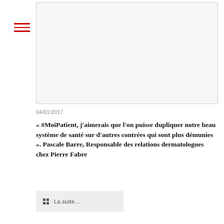[Figure (photo): Blank/light gray image placeholder box]
04/01/2017
« #MoiPatient, j'aimerais que l'on puisse dupliquer notre beau système de santé sur d'autres contrées qui sont plus démunies ». Pascale Barre, Responsable des relations dermatologues chez Pierre Fabre
La suite...